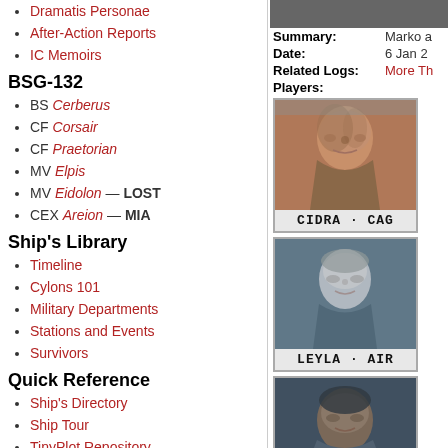Dramatis Personae
After-Action Reports
IC Memoirs
BSG-132
BS Cerberus
CF Corsair
CF Praetorian
MV Elpis
MV Eidolon — LOST
CEX Areion — MIA
Ship's Library
Timeline
Cylons 101
Military Departments
Stations and Events
Survivors
Quick Reference
Ship's Directory
Ship Tour
TinyPlot Repository
Civilian Plots
Actors and Actresses
| Field | Value |
| --- | --- |
| Summary: | Marko a |
| Date: | 6 Jan 2 |
| Related Logs: | More Th |
| Players: |  |
[Figure (photo): Player card for CIDRA - CAG, showing a woman with brown hair]
[Figure (photo): Player card for LEYLA - AIR, showing a woman with short blonde hair]
[Figure (photo): Player card for a male character, partially visible at bottom]